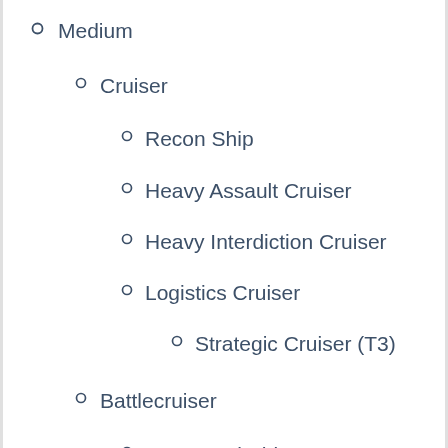Medium
Cruiser
Recon Ship
Heavy Assault Cruiser
Heavy Interdiction Cruiser
Logistics Cruiser
Strategic Cruiser (T3)
Battlecruiser
Command Ship
Large
Battleship